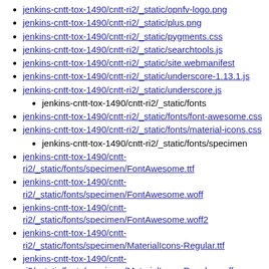jenkins-cntt-tox-1490/cntt-ri2/_static/opnfv-logo.png
jenkins-cntt-tox-1490/cntt-ri2/_static/plus.png
jenkins-cntt-tox-1490/cntt-ri2/_static/pygments.css
jenkins-cntt-tox-1490/cntt-ri2/_static/searchtools.js
jenkins-cntt-tox-1490/cntt-ri2/_static/site.webmanifest
jenkins-cntt-tox-1490/cntt-ri2/_static/underscore-1.13.1.js
jenkins-cntt-tox-1490/cntt-ri2/_static/underscore.js
jenkins-cntt-tox-1490/cntt-ri2/_static/fonts
jenkins-cntt-tox-1490/cntt-ri2/_static/fonts/font-awesome.css
jenkins-cntt-tox-1490/cntt-ri2/_static/fonts/material-icons.css
jenkins-cntt-tox-1490/cntt-ri2/_static/fonts/specimen
jenkins-cntt-tox-1490/cntt-ri2/_static/fonts/specimen/FontAwesome.ttf
jenkins-cntt-tox-1490/cntt-ri2/_static/fonts/specimen/FontAwesome.woff
jenkins-cntt-tox-1490/cntt-ri2/_static/fonts/specimen/FontAwesome.woff2
jenkins-cntt-tox-1490/cntt-ri2/_static/fonts/specimen/MaterialIcons-Regular.ttf
jenkins-cntt-tox-1490/cntt-ri2/_static/fonts/specimen/MaterialIcons-Regular.woff